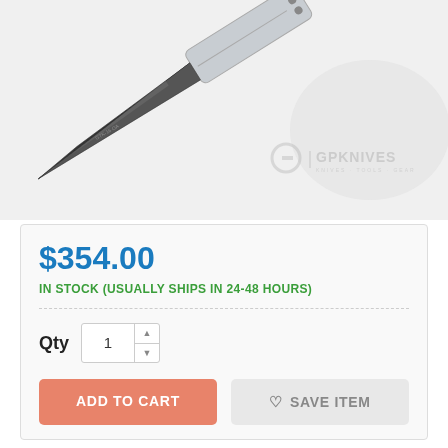[Figure (photo): Product photo of a tactical OTF knife with dark blade and silver/gray handle, shown open at an angle. GPKnives logo watermark visible in bottom right corner with text 'KNIVES · TOOLS · GEAR'.]
$354.00
IN STOCK (USUALLY SHIPS IN 24-48 HOURS)
Qty 1
ADD TO CART
SAVE ITEM